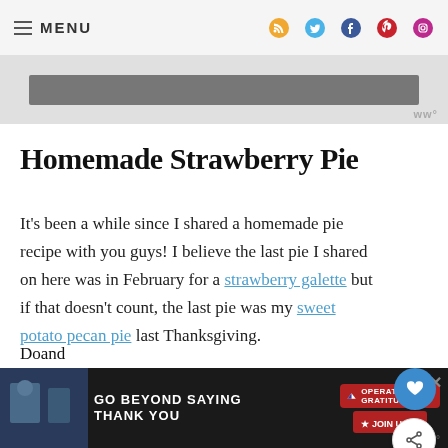MENU
[Figure (screenshot): Website advertisement banner placeholder, dark gray rectangle]
Homemade Strawberry Pie
It's been a while since I shared a homemade pie recipe with you guys! I believe the last pie I shared on here was in February for a strawberry galette but if that doesn't count, the last pie was my sweet potato pecan pie last Thanksgiving.
[Figure (screenshot): Bottom advertisement banner: GO BEYOND SAYING THANK YOU - Operation Gratitude JOIN US]
Do...and